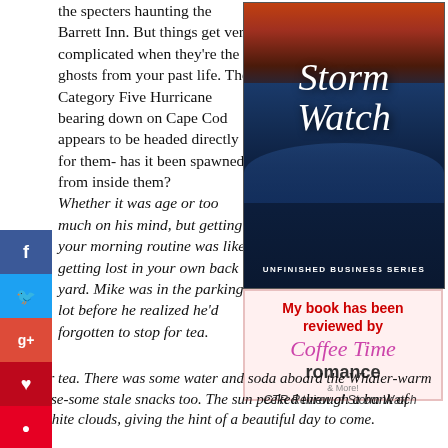the specters haunting the Barrett Inn. But things get very complicated when they're the ghosts from your past life. The Category Five Hurricane bearing down on Cape Cod appears to be headed directly for them- has it been spawned from inside them?
Whether it was age or too much on his mind, but getting your morning routine was like getting lost in your own back yard. Mike was in the parking lot before he realized he'd forgotten to stop for tea. There was some water and soda aboard the Whaler-warm of course-some stale snacks too. The sun peeked through a bank of puffy white clouds, giving the hint of a beautiful day to come. But to the east, dark clouds...
[Figure (illustration): Book cover for 'Storm Watch' from the Unfinished Business Series, showing dramatic stormy ocean waves with a red-orange sunset sky, with the title in white italic script.]
[Figure (logo): Coffee Time Romance badge: 'My book has been reviewed by Coffee Time Romance & More!']
CTR Review of Storm Watch